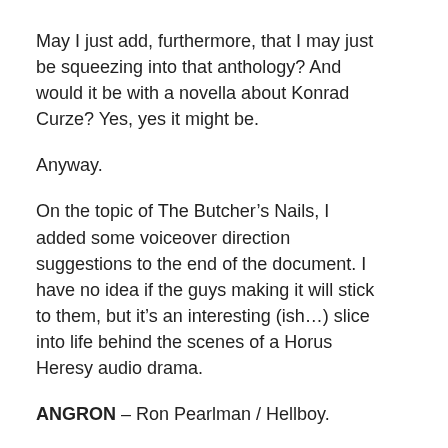May I just add, furthermore, that I may just be squeezing into that anthology? And would it be with a novella about Konrad Curze? Yes, yes it might be.
Anyway.
On the topic of The Butcher’s Nails, I added some voiceover direction suggestions to the end of the document. I have no idea if the guys making it will stick to them, but it’s an interesting (ish…) slice into life behind the scenes of a Horus Heresy audio drama.
ANGRON – Ron Pearlman / Hellboy.
LORGAR – Dr. Manhattan.
KHARN – vox-altered almost all the time, similar to Throne of Lies.